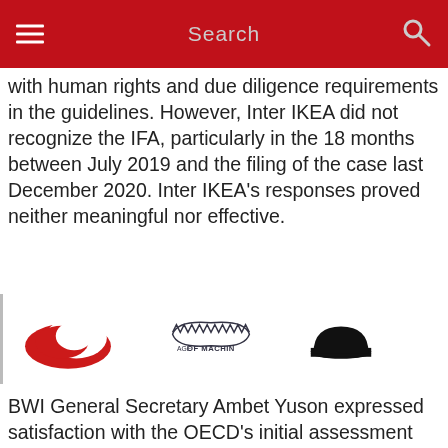Search
with human rights and due diligence requirements in the guidelines. However, Inter IKEA did not recognize the IFA, particularly in the 18 months between July 2019 and the filing of the case last December 2020. Inter IKEA's responses proved neither meaningful nor effective.
[Figure (logo): Three logos: red swoosh/Turkish Airlines style logo, Age of Machines gear logo, and a black dome/half circle logo]
BWI General Secretary Ambet Yuson expressed satisfaction with the OECD's initial assessment and welcomed its offer of mediation.